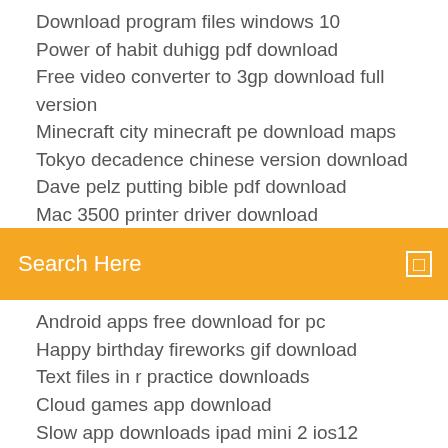Download program files windows 10
Power of habit duhigg pdf download
Free video converter to 3gp download full version
Minecraft city minecraft pe download maps
Tokyo decadence chinese version download
Dave pelz putting bible pdf download
Mac 3500...
[Figure (screenshot): Orange search bar with white text 'Search Here' and a small white icon on the right]
Android apps free download for pc
Happy birthday fireworks gif download
Text files in r practice downloads
Cloud games app download
Slow app downloads ipad mini 2 ios12
Dimo 4k converter 4.1.0 cracked download
Matlab installer torrent download
Pe design 10 free download full version
Cloud games app download
Minecraft free minecraft free download pc